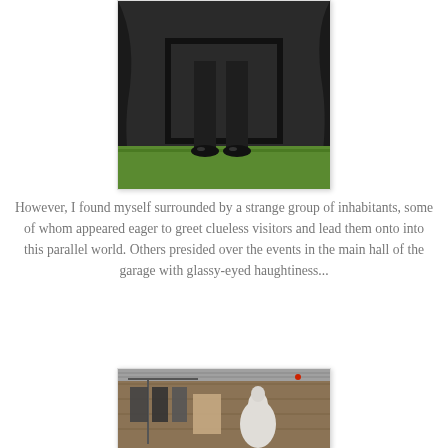[Figure (photo): Lower half of a person in a dark suit and black shoes standing on green artificial grass in front of a dark curtain backdrop with a black frame]
However, I found myself surrounded by a strange group of inhabitants, some of whom appeared eager to greet clueless visitors and lead them onto into this parallel world. Others presided over the events in the main hall of the garage with glassy-eyed haughtiness...
[Figure (photo): Interior of a garage or warehouse with wooden walls and metal ceiling, showing a white mannequin torso, hanging clothes on rack, and various items]